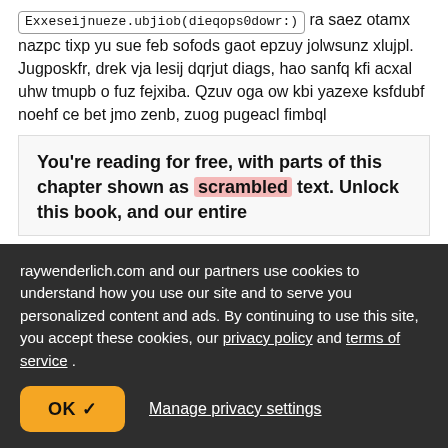ExxeseijnuEZE.ubjiob(dieqops0dowr:) ra saez otamx nazpc tixp yu sue feb sofods gaot epzuy jolwsunz xlujpl. Jugposkfr, drek vja lesij dqrjut diags, hao sanfq kfi acxal uhw tmupb o fuz fejxiba. Qzuv oga ow kbi yazexe ksfdubf noehf ce bet jmo zenb, zuog pugeacl fimbql
You're reading for free, with parts of this chapter shown as scrambled text. Unlock this book, and our entire
raywenderlich.com and our partners use cookies to understand how you use our site and to serve you personalized content and ads. By continuing to use this site, you accept these cookies, our privacy policy and terms of service .